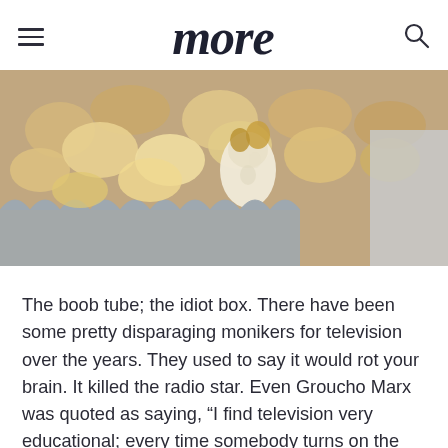more
[Figure (photo): Close-up photograph of popcorn in a grey scalloped popcorn box, filling the frame with golden and white popped kernels against a blurred background.]
The boob tube; the idiot box. There have been some pretty disparaging monikers for television over the years. They used to say it would rot your brain. It killed the radio star. Even Groucho Marx was quoted as saying, “I find television very educational; every time somebody turns on the